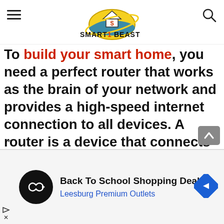Smart1Beast logo header with hamburger menu and search icon
To build your smart home, you need a perfect router that works as the brain of your network and provides a high-speed internet connection to all devices. A router is a device that connects your computer to the internet. It allows you to remotely access your home network, control multiple devices simultaneously, and transfer files between different computers. You can control your lights, ches, and other smart devices from a
[Figure (infographic): Advertisement banner: Back To School Shopping Deals - Leesburg Premium Outlets, with circular logo and navigation diamond icon]